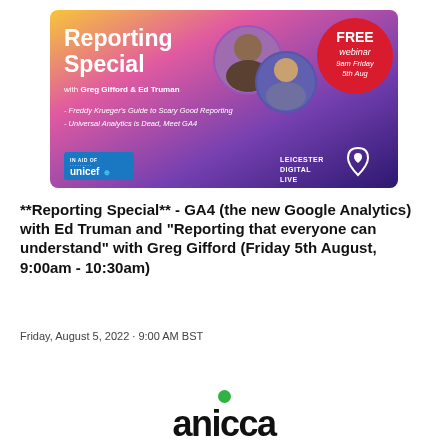[Figure (infographic): Promotional banner for 'Reporting Special' webinar with Greg Gifford and Ed Truman. Gradient background from yellow-orange to purple. Circular portraits of two speakers. Red circle badge: FREE webinar 9am Friday 5th Aug. Topics: Freddy Krueger's Guide to Scary Good Reporting, Universal Analytics is Dead, Meet GA4. Logos: UNICEF (In Aid Of) and Leicester Digital Live.]
**Reporting Special** - GA4 (the new Google Analytics) with Ed Truman and "Reporting that everyone can understand" with Greg Gifford (Friday 5th August, 9:00am - 10:30am)
Friday, August 5, 2022 · 9:00 AM BST
[Figure (logo): Anicca logo — green dot above large black bold lowercase text 'anicca' (partially visible, cropped at bottom)]